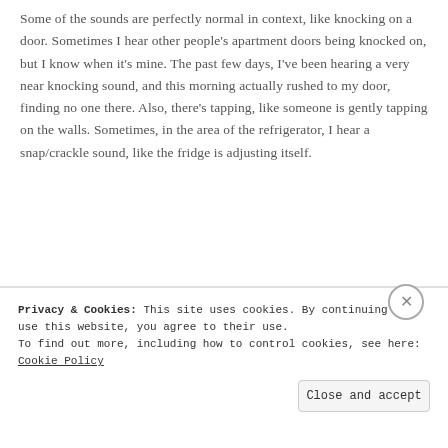Some of the sounds are perfectly normal in context, like knocking on a door. Sometimes I hear other people's apartment doors being knocked on, but I know when it's mine. The past few days, I've been hearing a very near knocking sound, and this morning actually rushed to my door, finding no one there. Also, there's tapping, like someone is gently tapping on the walls. Sometimes, in the area of the refrigerator, I hear a snap/crackle sound, like the fridge is adjusting itself.
Privacy & Cookies: This site uses cookies. By continuing to use this website, you agree to their use.
To find out more, including how to control cookies, see here: Cookie Policy
Close and accept